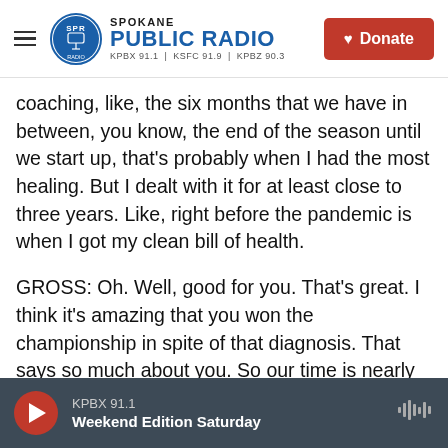Spokane Public Radio — KPBX 91.1 | KSFC 91.9 | KPBZ 90.3 — Donate
coaching, like, the six months that we have in between, you know, the end of the season until we start up, that's probably when I had the most healing. But I dealt with it for at least close to three years. Like, right before the pandemic is when I got my clean bill of health.

GROSS: Oh. Well, good for you. That's great. I think it's amazing that you won the championship in spite of that diagnosis. That says so much about you. So our time is nearly up. But I just want you to, like, play back a moment for us. You know, one of the greatest honors for an athlete is to play at the
KPBX 91.1 — Weekend Edition Saturday